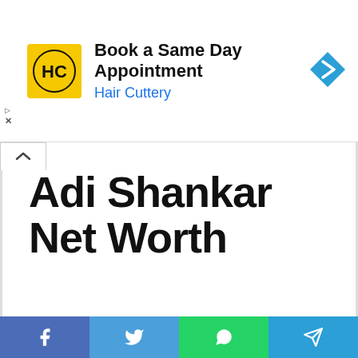[Figure (other): Hair Cuttery advertisement banner: HC logo on yellow background, text 'Book a Same Day Appointment' and 'Hair Cuttery' in blue, blue navigation arrow icon on right]
Adi Shankar Net Worth
Adi Shankar Net Worth 2022: Wiki Biography, Married, Family, Measurements, Height, Salary, Relationships
Edward Norton 🔥 172  🔖 2 minutes read